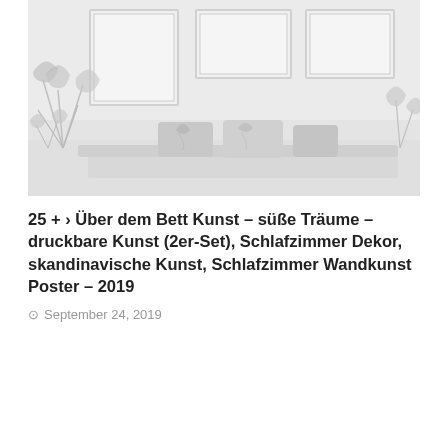[Figure (photo): A light grey-toned bedroom scene with a sofa/bed partially visible at the bottom, tropical monstera leaf plants on the left, decorative pillows, and three empty picture frames hanging on the wall in the upper portion.]
25 + › Über dem Bett Kunst – süße Träume – druckbare Kunst (2er-Set), Schlafzimmer Dekor, skandinavische Kunst, Schlafzimmer Wandkunst Poster – 2019
September 24, 2019